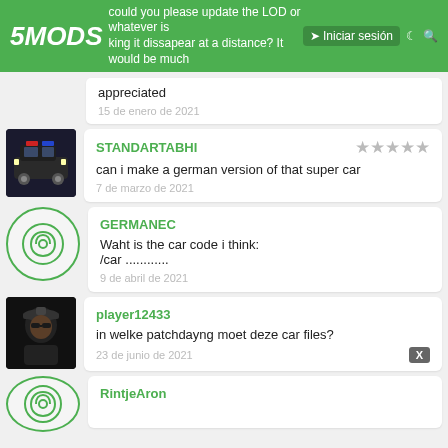5MODS | could you please update the LOD or whatever is making it disappear at a distance? It would be much appreciated | Iniciar sesión
appreciated
15 de enero de 2021
STANDARTABHI
can i make a german version of that super car
7 de marzo de 2021
GERMANEC
Waht is the car code i think:
/car ...........
9 de abril de 2021
player12433
in welke patchdayng moet deze car files?
23 de junio de 2021
RintjeAron